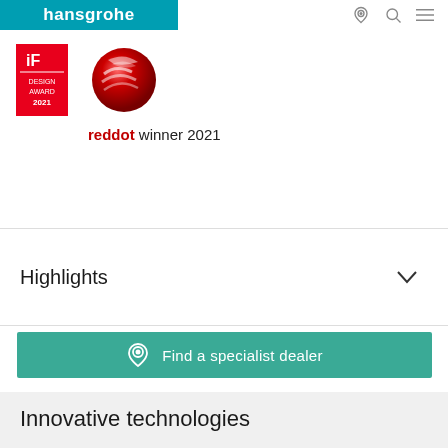hansgrohe
[Figure (logo): iF Design Award 2021 red badge with white text]
[Figure (logo): Red Dot winner 2021 logo with red sphere]
reddot winner 2021
Highlights
Find a specialist dealer
Innovative technologies